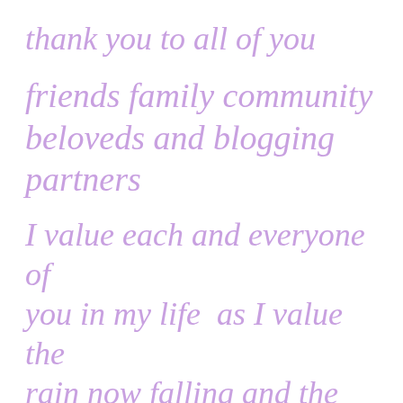thank you to all of you
friends family community beloveds and blogging partners
I value each and everyone of you in my life  as I value the rain now falling and the ocean salt on my skin...
thank you all for being here